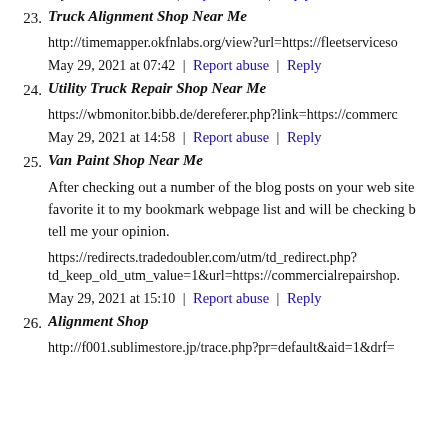me
May 29, 2021 at 06:03 | Report abuse | Reply
23. Truck Alignment Shop Near Me
http://timemapper.okfnlabs.org/view?url=https://fleetserviceso…
May 29, 2021 at 07:42 | Report abuse | Reply
24. Utility Truck Repair Shop Near Me
https://wbmonitor.bibb.de/dereferer.php?link=https://commerc…
May 29, 2021 at 14:58 | Report abuse | Reply
25. Van Paint Shop Near Me
After checking out a number of the blog posts on your web site, I favorite it to my bookmark webpage list and will be checking b… tell me your opinion.
https://redirects.tradedoubler.com/utm/td_redirect.php?td_keep_old_utm_value=1&url=https://commercialrepairshop…
May 29, 2021 at 15:10 | Report abuse | Reply
26. Alignment Shop
http://f001.sublimestore.jp/trace.php?pr=default&aid=1&drf=…